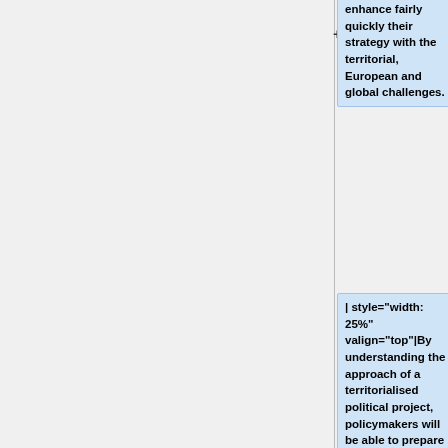enhance fairly quickly their strategy with the territorial, European and global challenges.
| style="width: 25%" valign="top"|By understanding the approach of a territorialised political project, policymakers will be able to prepare to assume responsibility in a territory as an elected or member of a coordination or animation team.
Awareness of the European